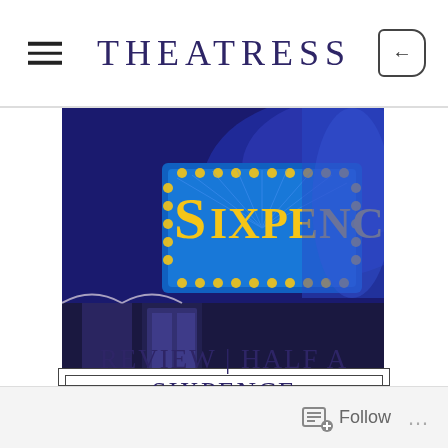THEATRESS
[Figure (photo): Theatre marquee sign showing 'SIXPENCE' in yellow letters on a blue illuminated billboard with decorative lights]
REVIEW | HALF A SIXPENCE
CULTURE, LIFESTYLE, THEATRE by THEATRESS - APRIL 4, 2017
Follow